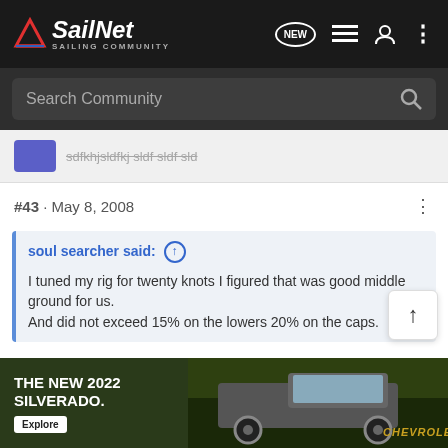SailNet SAILING COMMUNITY
Search Community
#43 · May 8, 2008
soul searcher said: ↑
I tuned my rig for twenty knots I figured that was good middle ground for us.
And did not exceed 15% on the lowers 20% on the caps.
How does one go about optimizing the rig for 20Knots?
The rig I would like to set is a twin spreader aft swept 7/8 rig with a set of lowers and intermediates. The mast is a keel stepped... The mast is double tapered and the base can be r...
[Figure (screenshot): Chevrolet Silverado 2022 advertisement banner at the bottom]